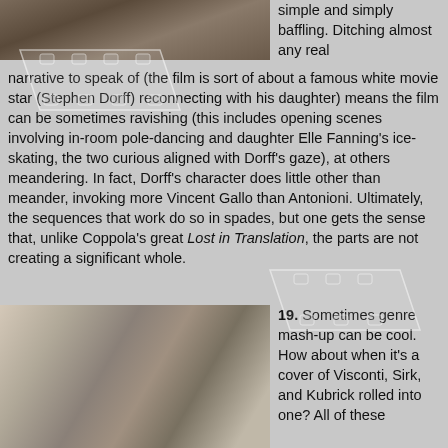[Figure (photo): A couple or two people in an intimate scene, top portion of image, muted warm tones]
simple and simply baffling. Ditching almost any real narrative to speak of (the film is sort of about a famous white movie star (Stephen Dorff) reconnecting with his daughter) means the film can be sometimes ravishing (this includes opening scenes involving in-room pole-dancing and daughter Elle Fanning's ice-skating, the two curious aligned with Dorff's gaze), at others meandering. In fact, Dorff's character does little other than meander, invoking more Vincent Gallo than Antonioni. Ultimately, the sequences that work do so in spades, but one gets the sense that, unlike Coppola's great Lost in Translation, the parts are not creating a significant whole.
[Figure (photo): A blonde woman and a dark-haired young man looking at something, portrait style, cool tones]
19. Sometimes genre mash-up can be cool. How about when it's a cover of Visconti, Sirk, and Kubrick rolled into one? All of these